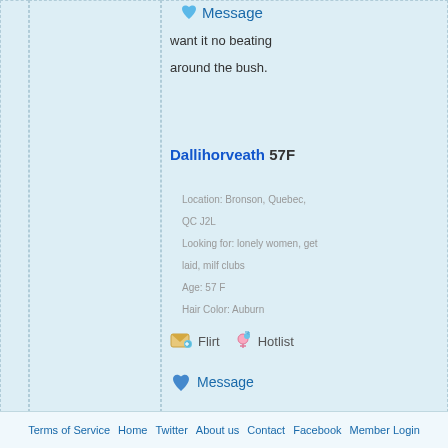Message
want it no beating

around the bush.
Dallihorveath 57F
Location: Bronson, Quebec,

QC J2L

Looking for: lonely women, get

laid, milf clubs

Age: 57 F

Hair Color: Auburn
Flirt   Hotlist
Message
Terms of Service  Home  Twitter  About us  Contact  Facebook  Member Login